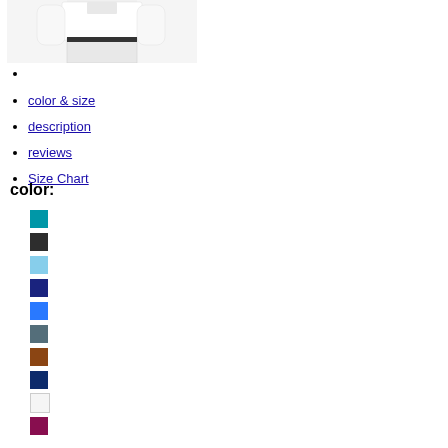[Figure (photo): White mannequin torso wearing white medical scrub top and pants]
color & size
description
reviews
Size Chart
color:
teal color swatch
dark gray/black color swatch
light blue color swatch
navy blue color swatch
royal blue color swatch
slate gray color swatch
brown color swatch
dark navy color swatch
white color swatch
burgundy/wine color swatch